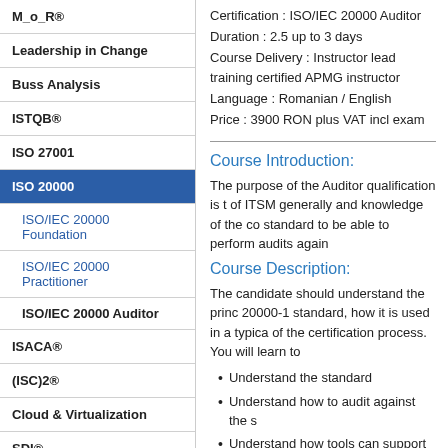M_o_R®
Leadership in Change
Buss Analysis
ISTQB®
ISO 27001
ISO 20000
ISO/IEC 20000 Foundation
ISO/IEC 20000 Practitioner
ISO/IEC 20000 Auditor
ISACA®
(ISC)2®
Cloud & Virtualization
SDI®
BRMI®
TOGAF®
Certification : ISO/IEC 20000 Auditor
Duration : 2.5 up to 3 days
Course Delivery : Instructor lead training certified APMG instructor
Language : Romanian / English
Price : 3900 RON plus VAT incl exam
Course Introduction:
The purpose of the Auditor qualification is to of ITSM generally and knowledge of the co standard to be able to perform audits again
Course Description:
The candidate should understand the princ 20000-1 standard, how it is used in a typica of the certification process. You will learn to
Understand the standard
Understand how to audit against the s
Understand how tools can support